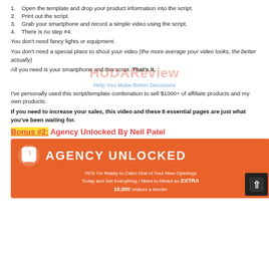1. Open the template and drop your product information into the script.
2. Print out the script.
3. Grab your smartphone and record a simple video using the script.
4. There is no step #4.
You don't need fancy lights or equipment.
You don't need a special place to shoot your video (the more average your video looks, the better actually)
All you need is your smartphone and this script. That's it.
I've personally used this script/template combination to sell $1000+ of affiliate products and my own products.
If you need to increase your sales, this video and these 8 essential pages are just what you've been waiting for.
Bonus #2: Agency Unlocked By Neil Patel
[Figure (infographic): Agency Unlocked orange banner with logo and text: YES! I'm Ready to Claim One of Your New Openings Today and Get Everything I Need to Attract an EXTRA 10,000 Visitors a Month!]